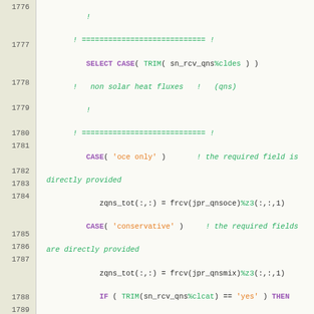[Figure (screenshot): Source code listing in Fortran showing SELECT CASE block for non solar heat fluxes (qns), with line numbers 1776-1796. Contains CASE branches for 'oce only', 'conservative', and 'oce and ice' handling of heat flux fields.]